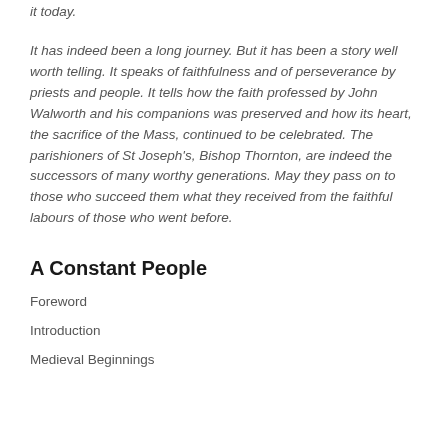it today.
It has indeed been a long journey. But it has been a story well worth telling. It speaks of faithfulness and of perseverance by priests and people. It tells how the faith professed by John Walworth and his companions was preserved and how its heart, the sacrifice of the Mass, continued to be celebrated. The parishioners of St Joseph's, Bishop Thornton, are indeed the successors of many worthy generations. May they pass on to those who succeed them what they received from the faithful labours of those who went before.
A Constant People
Foreword
Introduction
Medieval Beginnings